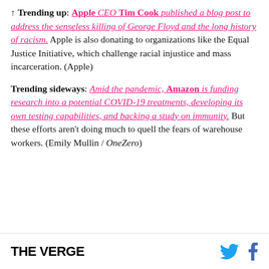↑ Trending up: Apple CEO Tim Cook published a blog post to address the senseless killing of George Floyd and the long history of racism. Apple is also donating to organizations like the Equal Justice Initiative, which challenge racial injustice and mass incarceration. (Apple)
Trending sideways: Amid the pandemic, Amazon is funding research into a potential COVID-19 treatments, developing its own testing capabilities, and backing a study on immunity. But these efforts aren't doing much to quell the fears of warehouse workers. (Emily Mullin / OneZero)
THE VERGE